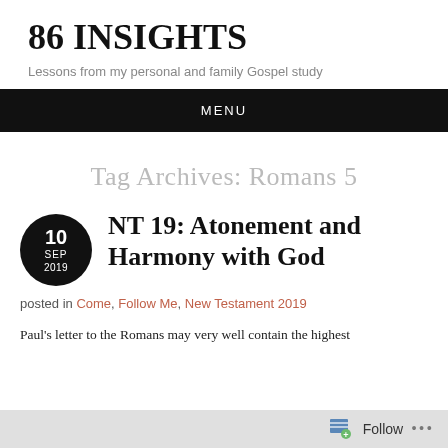86 INSIGHTS
Lessons from my personal and family Gospel study
MENU
Tag Archives: Romans 5
NT 19: Atonement and Harmony with God
posted in Come, Follow Me, New Testament 2019
Paul's letter to the Romans may very well contain the highest